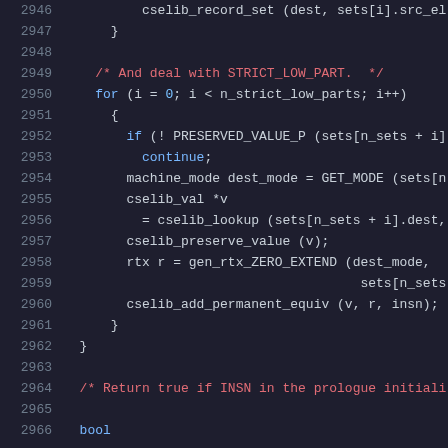Source code listing lines 2946-2966, showing C code for cselib record set, loop over strict_low_parts, and return true comment.